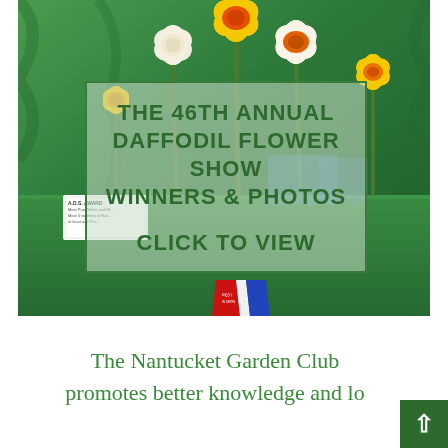[Figure (photo): Photo of a daffodil flower show display on a green cloth-covered table. Multiple yellow and white daffodil blooms on stems stand upright against a green drape background. A semi-transparent box overlaid on the image reads 'THE 46TH ANNUAL DAFFODIL FLOWER SHOW WINNERS & PHOTOS CLICK TO VIEW' in bold dark green text. A prize ribbon (red, white, blue) hangs at the bottom center. A small white sign card is visible on the lower left of the table.]
The Nantucket Garden Club promotes better knowledge and lo